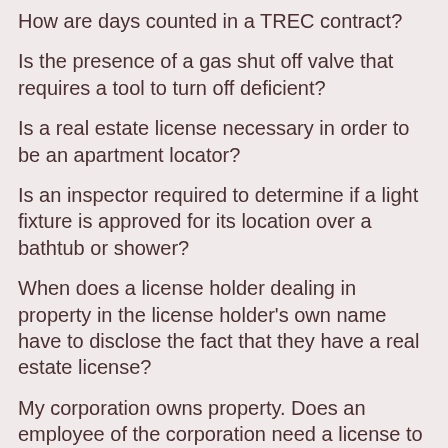How are days counted in a TREC contract?
Is the presence of a gas shut off valve that requires a tool to turn off deficient?
Is a real estate license necessary in order to be an apartment locator?
Is an inspector required to determine if a light fixture is approved for its location over a bathtub or shower?
When does a license holder dealing in property in the license holder's own name have to disclose the fact that they have a real estate license?
My corporation owns property. Does an employee of the corporation need a license to sell or lease the property?
As a licensed inspector in the State of Texas, am I supposed to charge a sales tax on the amount of my inspection fee?
Can a broker share a commission or other compensation